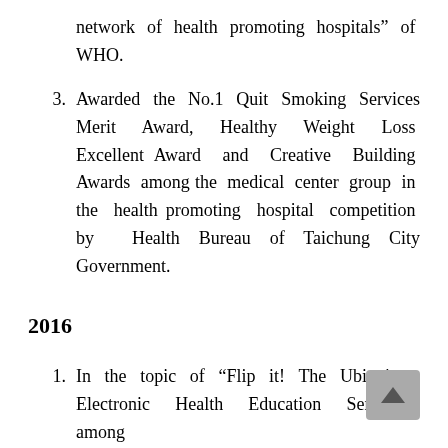network of health promoting hospitals” of WHO.
3. Awarded the No.1 Quit Smoking Services Merit Award, Healthy Weight Loss Excellent Award and Creative Building Awards among the medical center group in the health promoting hospital competition by Health Bureau of Taichung City Government.
2016
1. In the topic of “Flip it! The Ubiquitous Electronic Health Education Services” among